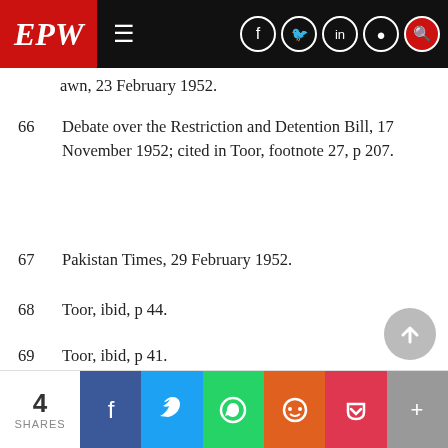EPW
awn, 23 February 1952.
66  Debate over the Restriction and Detention Bill, 17 November 1952; cited in Toor, footnote 27, p 207.
67  Pakistan Times, 29 February 1952.
68  Toor, ibid, p 44.
69  Toor, ibid, p 41.
70  Author interview, 15 August 2011.
4 SHARES